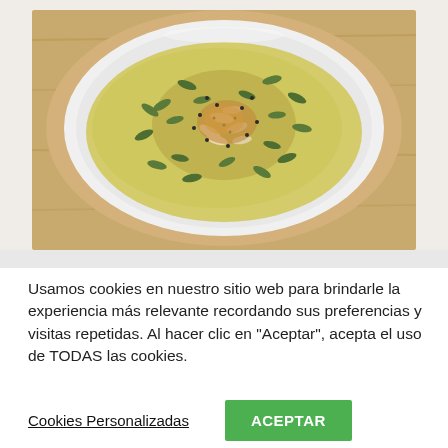[Figure (photo): A white bowl of creamy yellow-green soup topped with pumpkin seeds, sliced almonds, ground spices and other seeds/toppings, sitting on a wooden plate/board, viewed from above.]
Usamos cookies en nuestro sitio web para brindarle la experiencia más relevante recordando sus preferencias y visitas repetidas. Al hacer clic en "Aceptar", acepta el uso de TODAS las cookies.
Cookies Personalizadas
ACEPTAR